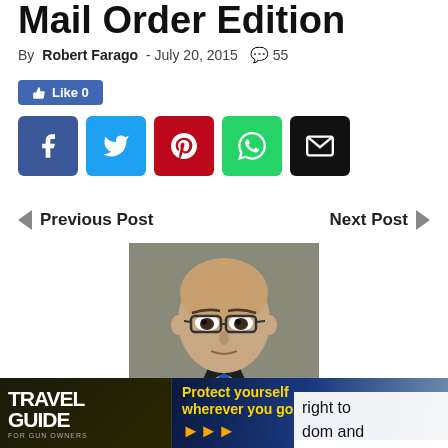Mail Order Edition
By Robert Farago - July 20, 2015  💬 55
[Figure (other): Like 0 button (Facebook like)]
[Figure (other): Social share buttons: Facebook, Twitter, Pinterest, WhatsApp, Email]
◄ Previous Post
Next Post ►
[Figure (photo): Portrait photo of a middle-aged bald man wearing glasses and a dark suit with blue tie, against a grey background]
[Figure (other): Advertisement bar: TRAVEL GUIDE FOR GUN OWNERS / Protect yourself wherever you go. / U.S. LawShield]
right to dom and